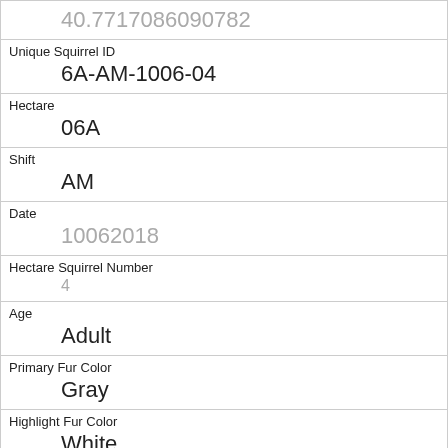| 40.7717086090782 |
| Unique Squirrel ID | 6A-AM-1006-04 |
| Hectare | 06A |
| Shift | AM |
| Date | 10062018 |
| Hectare Squirrel Number | 4 |
| Age | Adult |
| Primary Fur Color | Gray |
| Highlight Fur Color | White |
| Combination of Primary and Highlight Color | Gray+White |
| Color notes |  |